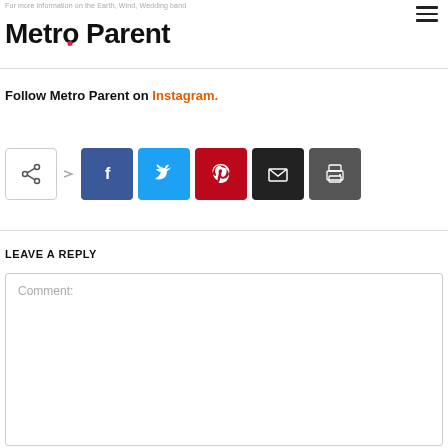For more information on the Earth, Wind, Wedding band
[Figure (logo): Metro Parent logo in bold black text with a red dot on the letter o]
Follow Metro Parent on Instagram.
[Figure (infographic): Social share bar with icons: share, Facebook, Twitter, Pinterest, Email, Print]
LEAVE A REPLY
Comment: